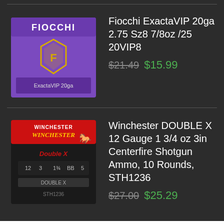[Figure (photo): Purple Fiocchi branded shotgun shell box]
Fiocchi ExactaVIP 20ga 2.75 Sz8 7/8oz /25 20VIP8
$21.49 $15.99
[Figure (photo): Black and red Winchester Double X shotgun shell box]
Winchester DOUBLE X 12 Gauge 1 3/4 oz 3in Centerfire Shotgun Ammo, 10 Rounds, STH1236
$27.00 $25.29
We use cookies on our website to give you the most relevant experience by remembering your preferences and repeat visits. By clicking “Accept”, you consent to the use of ALL the cookies.
Cookie settings
ACCEPT